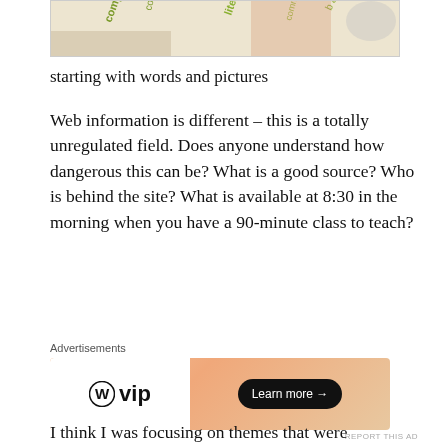[Figure (photo): Partial top image showing text overlays with words like 'literature', 'compare', 'community' on a background with hands, cropped at top of page]
starting with words and pictures
Web information is different – this is a totally unregulated field. Does anyone understand how dangerous this can be? What is a good source? Who is behind the site? What is available at 8:30 in the morning when you have a 90-minute class to teach?
[Figure (other): WordPress VIP advertisement banner with gradient orange/peach background, WordPress logo on white left panel, and 'Learn more →' button on dark pill]
I think I was focusing on themes that were